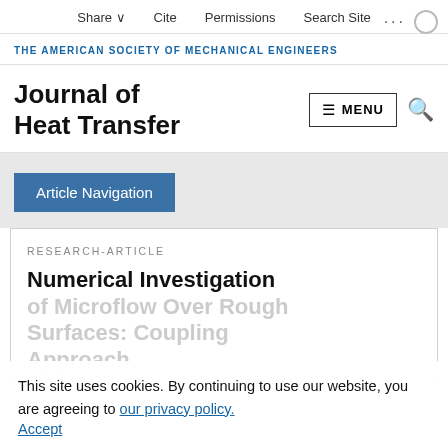Share  Cite  Permissions  Search Site
THE AMERICAN SOCIETY OF MECHANICAL ENGINEERS
Journal of Heat Transfer
Article Navigation
RESEARCH-ARTICLE
Numerical Investigation of Microflow Over Rough Surfaces: Coupling Approach
This site uses cookies. By continuing to use our website, you are agreeing to our privacy policy. Accept